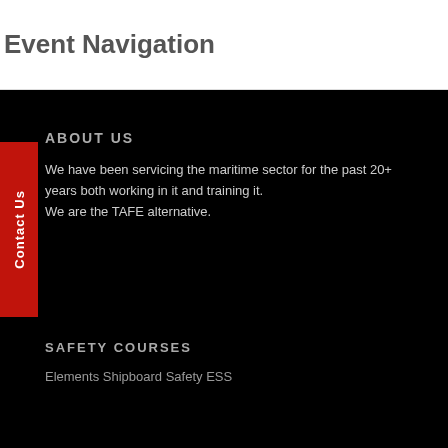Event Navigation
ABOUT US
We have been servicing the maritime sector for the past 20+ years both working in it and training it.
We are the TAFE alternative.
SAFETY COURSES
Elements Shipboard Safety ESS